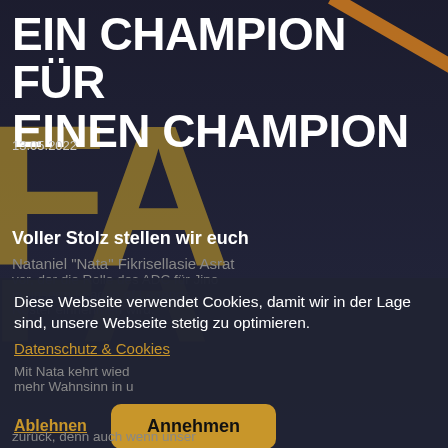[Figure (photo): Dark navy esports themed background with gold 'FA' watermark letters and an orange diagonal accent bar in the top right corner]
EIN CHAMPION FÜR EINEN CHAMPION
13.05.2022
Voller Stolz stellen wir euch
Nataniel "Nata" Fikrisellasie Asrat
vor, der die Rolle des ADC für Jino
in unserm League of Legends
Roster einnehmen wird.
Diese Webseite verwendet Cookies, damit wir in der Lage sind, unsere Webseite stetig zu optimieren.
Datenschutz & Cookies
Mit Nata kehrt wied
mehr Wahnsinn in u
zurück, denn auch wenn unser
Ablehnen
Annehmen